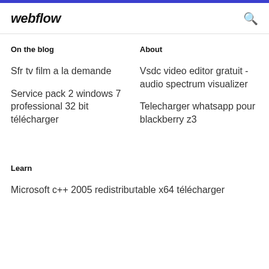webflow
On the blog
About
Sfr tv film a la demande
Service pack 2 windows 7 professional 32 bit télécharger
Vsdc video editor gratuit - audio spectrum visualizer
Telecharger whatsapp pour blackberry z3
Learn
Microsoft c++ 2005 redistributable x64 télécharger